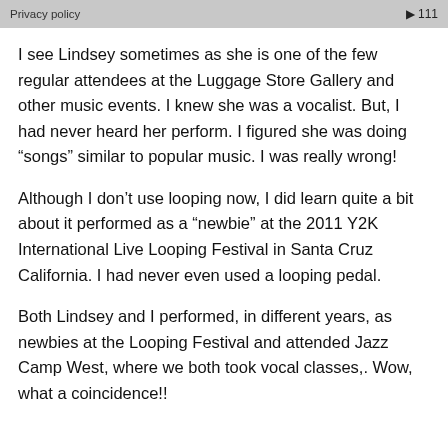Privacy policy  ▶ 111
I see Lindsey sometimes as she is one of the few regular attendees at the Luggage Store Gallery and other music events. I knew she was a vocalist. But, I had never heard her perform. I figured she was doing “songs” similar to popular music. I was really wrong!
Although I don’t use looping now, I did learn quite a bit about it performed as a “newbie” at the 2011 Y2K International Live Looping Festival in Santa Cruz California. I had never even used a looping pedal.
Both Lindsey and I performed, in different years, as newbies at the Looping Festival and attended Jazz Camp West, where we both took vocal classes,. Wow, what a coincidence!!